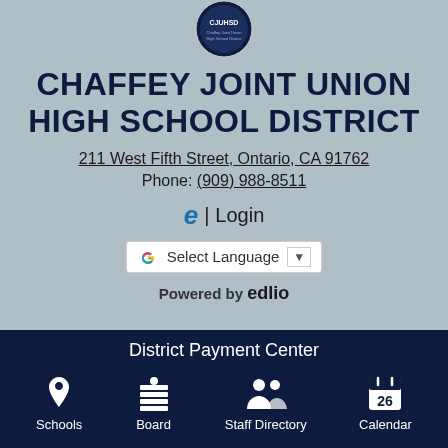[Figure (logo): CJUHSD circular school district seal/logo]
CHAFFEY JOINT UNION HIGH SCHOOL DISTRICT
211 West Fifth Street, Ontario, CA 91762
Phone: (909) 988-8511
e | Login
[Figure (other): Google Translate widget: Select Language dropdown]
Powered by edlio
District Payment Center
Schools
Board
Staff Directory
Calendar